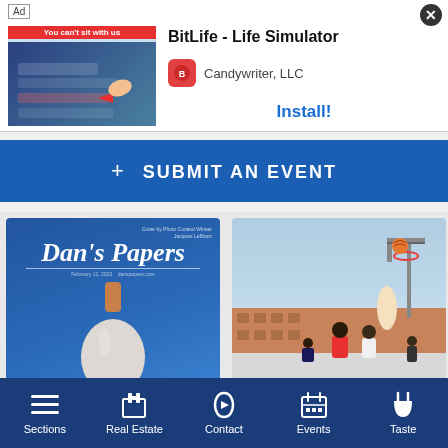[Figure (screenshot): Ad banner for BitLife - Life Simulator by Candywriter, LLC with Install button]
BitLife - Life Simulator
Candywriter, LLC
Install!
+ SUBMIT AN EVENT
[Figure (photo): Dan's Papers magazine cover with bottle on blue background, dated Sat, Aug. 20]
Sat, Aug. 20
[Figure (photo): Basketball players on outdoor court, dated Sat, Aug. 20]
Sat, Aug. 20
Sections  Real Estate  Contact  Events  Taste